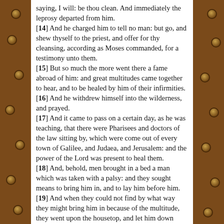saying, I will: be thou clean. And immediately the leprosy departed from him. [14] And he charged him to tell no man: but go, and shew thyself to the priest, and offer for thy cleansing, according as Moses commanded, for a testimony unto them. [15] But so much the more went there a fame abroad of him: and great multitudes came together to hear, and to be healed by him of their infirmities. [16] And he withdrew himself into the wilderness, and prayed. [17] And it came to pass on a certain day, as he was teaching, that there were Pharisees and doctors of the law sitting by, which were come out of every town of Galilee, and Judaea, and Jerusalem: and the power of the Lord was present to heal them. [18] And, behold, men brought in a bed a man which was taken with a palsy: and they sought means to bring him in, and to lay him before him. [19] And when they could not find by what way they might bring him in because of the multitude, they went upon the housetop, and let him down through the tiling with his couch into the midst before Jesus. [20] And when he saw their faith, he said unto him, Man, thy sins are forgiven thee.